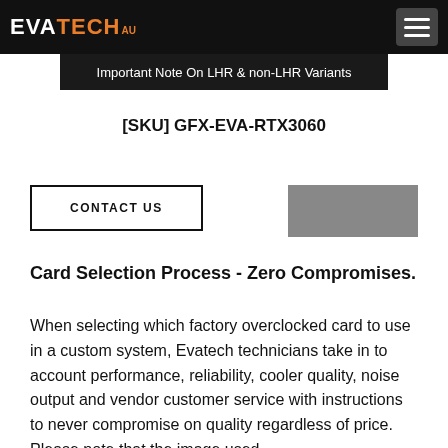EVATECH AU
Important Note On LHR & non-LHR Variants
[SKU] GFX-EVA-RTX3060
CONTACT US
Card Selection Process - Zero Compromises.
When selecting which factory overclocked card to use in a custom system, Evatech technicians take in to account performance, reliability, cooler quality, noise output and vendor customer service with instructions to never compromise on quality regardless of price. Please note that the image used